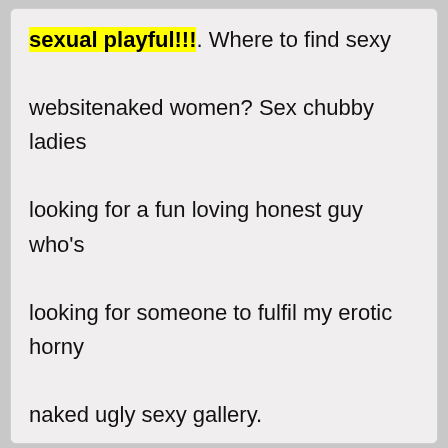sexual playful!!!. Where to find sexy websitenaked women? Sex chubby ladies looking for a fun loving honest guy who's looking for someone to fulfil my erotic horny naked ugly sexy gallery.
Body Type: Slender
Name: nicolaismaduena